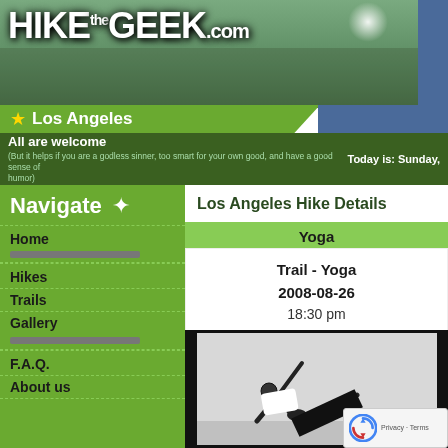[Figure (screenshot): HikeTheGeek.com website screenshot showing a hiking group banner photo with people walking on a path, logo text HIKE the GEEK .com overlaid]
Los Angeles
All are welcome
(But it helps if you are a godless sinner, too smart for your own good, and have a good sense of humor)
Today is: Sunday,
Navigate
Home
Hikes
Trails
Gallery
F.A.Q.
About us
Los Angeles Hike Details
Yoga
Trail - Yoga
2008-08-26
18:30 pm
Past
[Figure (photo): Black and white photograph of a person performing a yoga pose - a side-plank variation with one arm raised, body parallel to floor, set against a dark background with a light-colored mat or floor]